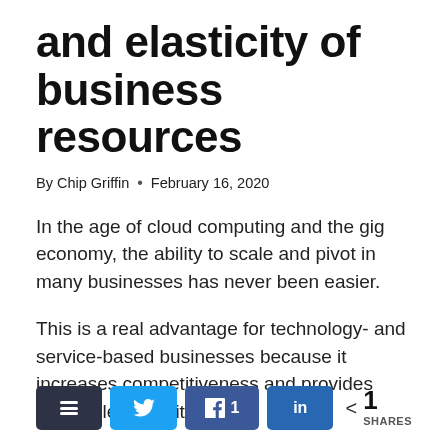and elasticity of business resources
By Chip Griffin • February 16, 2020
In the age of cloud computing and the gig economy, the ability to scale and pivot in many businesses has never been easier.
This is a real advantage for technology- and service-based businesses because it increases competitiveness and provides incredible flexibility.
< 1 SHARES